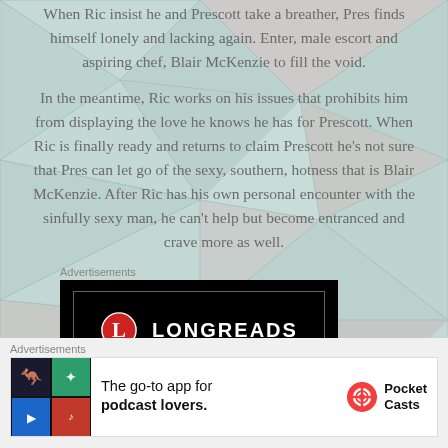When Ric insist he and Prescott take a breather, Pres finds himself lonely and lacking again. Enter, male escort and aspiring chef, Blair McKenzie to fill the void.
In the meantime, Ric works on his issues that prohibits him from displaying the love he knows he has for Prescott. When Ric is finally ready and returns to claim Prescott he's not sure that Pres can let go of the sexy, southern, hotness that is Blair McKenzie. After Ric has his own personal encounter with the sinfully sexy man, he can't help but become entranced and crave more as well.
Advertisements
[Figure (logo): Longreads advertisement banner with red circle L logo on black background]
Advertisements
[Figure (infographic): Pocket Casts advertisement: The go-to app for podcast lovers, with app icon tiles and Pocket Casts logo]